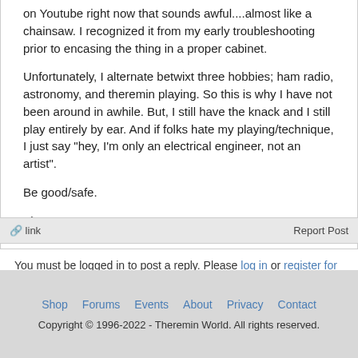on Youtube right now that sounds awful....almost like a chainsaw. I recognized it from my early troubleshooting prior to encasing the thing in a proper cabinet.
Unfortunately, I alternate betwixt three hobbies; ham radio, astronomy, and theremin playing. So this is why I have not been around in awhile. But, I still have the knack and I still play entirely by ear. And if folks hate my playing/technique, I just say "hey, I'm only an electrical engineer, not an artist".
Be good/safe.
Fleep
🔗 link    Report Post
You must be logged in to post a reply. Please log in or register for a new account.
Shop  Forums  Events  About  Privacy  Contact
Copyright © 1996-2022 - Theremin World. All rights reserved.